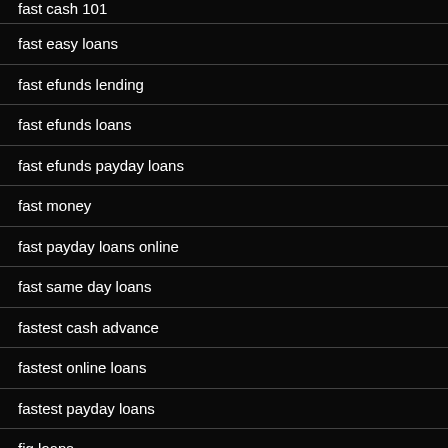fast cash 101
fast easy loans
fast efunds lending
fast efunds loans
fast efunds payday loans
fast money
fast payday loans online
fast same day loans
fastest cash advance
fastest online loans
fastest payday loans
fig loans
fig payday loans